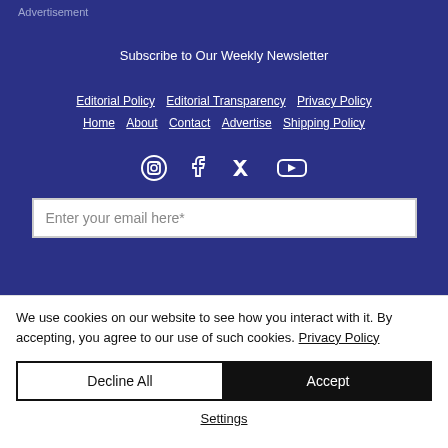Advertisement
Subscribe to Our Weekly Newsletter
Editorial Policy   Editorial Transparency   Privacy Policy   Home   About   Contact   Advertise   Shipping Policy
[Figure (other): Social media icons: Instagram, Facebook, Twitter, YouTube]
Enter your email here*
We use cookies on our website to see how you interact with it. By accepting, you agree to our use of such cookies. Privacy Policy
Decline All
Accept
Settings